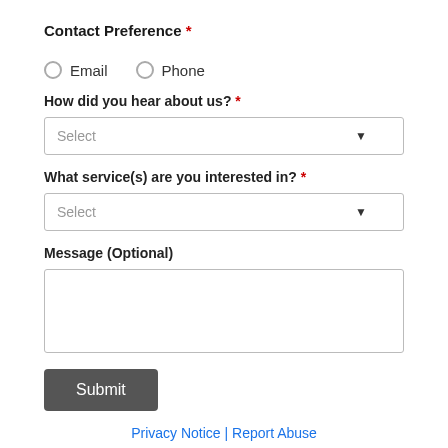Contact Preference *
Email
Phone
How did you hear about us? *
Select
What service(s) are you interested in? *
Select
Message (Optional)
Submit
Privacy Notice | Report Abuse